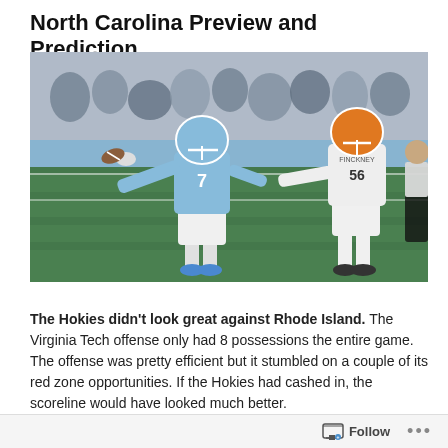North Carolina Preview and Prediction
[Figure (photo): Football game photo: UNC quarterback #7 in light blue jersey throwing a pass while a defender #56 in white jersey rushes from the right side. Game is played on a green field with crowd in background.]
The Hokies didn't look great against Rhode Island. The Virginia Tech offense only had 8 possessions the entire game. The offense was pretty efficient but it stumbled on a couple of its red zone opportunities. If the Hokies had cashed in, the scoreline would have looked much better.
Follow ...